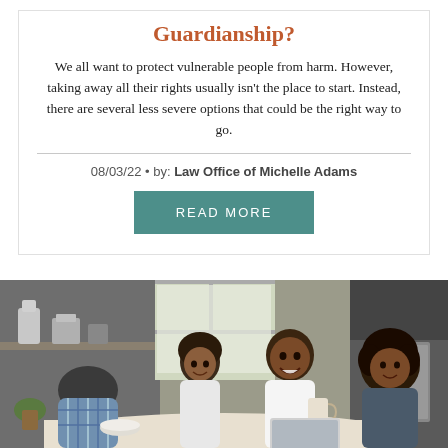Guardianship?
We all want to protect vulnerable people from harm. However, taking away all their rights usually isn't the place to start. Instead, there are several less severe options that could be the right way to go.
08/03/22 • by: Law Office of Michelle Adams
READ MORE
[Figure (photo): A smiling Black family of four sitting around a kitchen table, with a man in a white t-shirt holding a coffee cup, a young girl, a young boy, and a woman with curly hair. Kitchen appliances visible in background.]